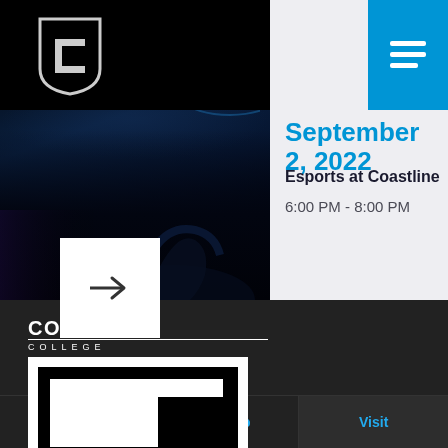[Figure (screenshot): Esports gaming room with blue neon lighting, monitors and gaming chairs visible]
[Figure (logo): Coastline College shield/C logo in white on black background, top-left header]
[Figure (other): Blue menu/hamburger icon button in top-right corner]
September 2, 2022
Esports at Coastline
6:00 PM - 8:00 PM
[Figure (logo): Coastline College wordmark and square C logo in white on dark background]
Apply Now
Get Info
Visit